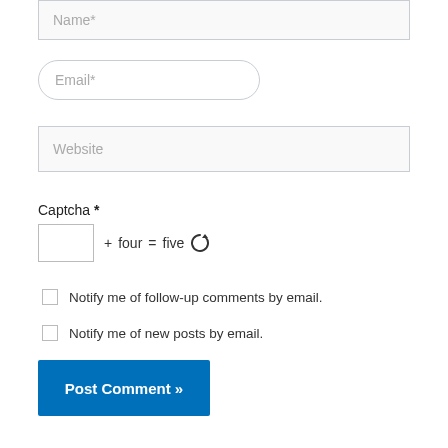[Figure (screenshot): Name text input field with placeholder 'Name*']
[Figure (screenshot): Email text input field with rounded corners and placeholder 'Email*']
[Figure (screenshot): Website text input field with placeholder 'Website']
Captcha *
[Figure (screenshot): Captcha input box with math equation: + four = five, and a refresh icon]
Notify me of follow-up comments by email.
Notify me of new posts by email.
[Figure (screenshot): Post Comment >> button in blue]